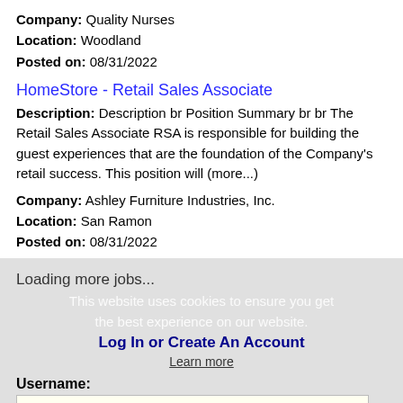Company: Quality Nurses
Location: Woodland
Posted on: 08/31/2022
HomeStore - Retail Sales Associate
Description: Description br Position Summary br br The Retail Sales Associate RSA is responsible for building the guest experiences that are the foundation of the Company's retail success. This position will (more...)
Company: Ashley Furniture Industries, Inc.
Location: San Ramon
Posted on: 08/31/2022
Loading more jobs...
This website uses cookies to ensure you get the best experience on our website.
Log In or Create An Account
Learn more
Username:
Got it!
Password: